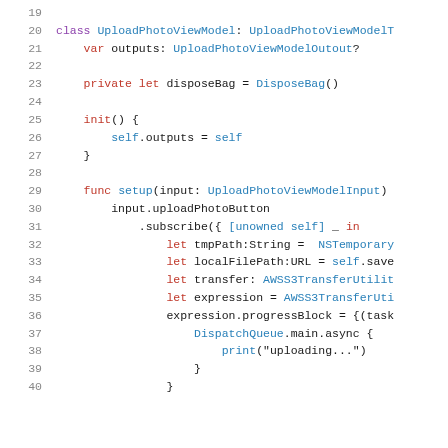[Figure (screenshot): Swift source code editor showing lines 19–40 of a class UploadPhotoViewModel implementing UploadPhotoViewModelType, with syntax highlighting in red, blue, and purple on white background.]